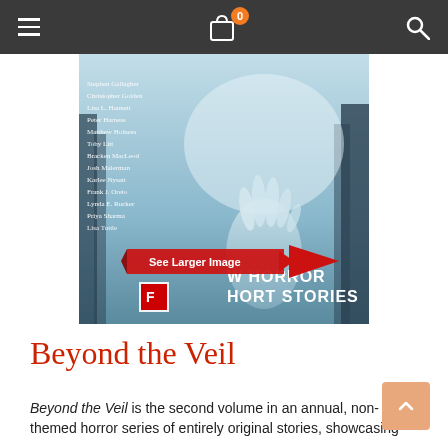Navigation bar with menu, cart (0 items), and search
[Figure (photo): Book cover for 'Beyond the Veil: New Horror Short Stories' showing a ghostly pale hand reaching up through a misty blue-toned forest scene, with a list of authors on the left side including Stephen Gallagher, Christopher Golden, Lisa L. Hannett, Peter Harness, Matthew Holness, Toby Litt, Bracken MacLeod, Josh Malerman, Karlee Nysatt, Frank J. Oreto, Lynda E. Rucker, Priya Sharma, and others. A red 'See Larger Image' banner with arrow overlay is shown.]
Beyond the Veil
Beyond the Veil is the second volume in an annual, non-themed horror series of entirely original stories, showcasing